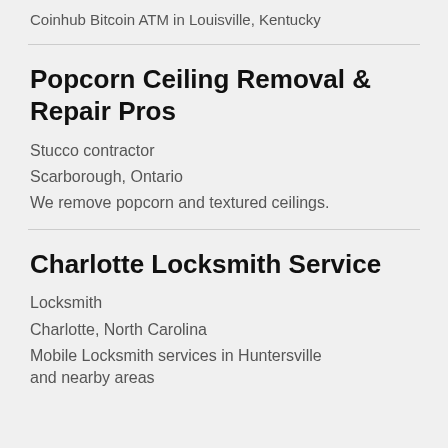Coinhub Bitcoin ATM in Louisville, Kentucky
Popcorn Ceiling Removal & Repair Pros
Stucco contractor
Scarborough, Ontario
We remove popcorn and textured ceilings.
Charlotte Locksmith Service
Locksmith
Charlotte, North Carolina
Mobile Locksmith services in Huntersville and nearby areas